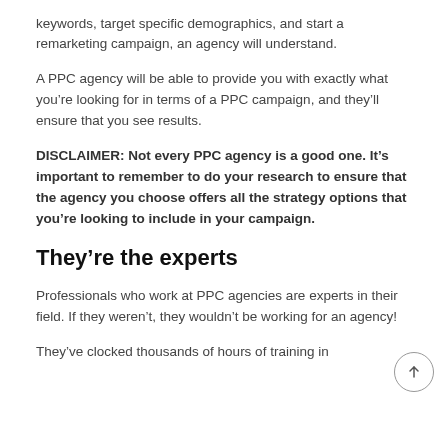keywords, target specific demographics, and start a remarketing campaign, an agency will understand.
A PPC agency will be able to provide you with exactly what you’re looking for in terms of a PPC campaign, and they’ll ensure that you see results.
DISCLAIMER: Not every PPC agency is a good one. It’s important to remember to do your research to ensure that the agency you choose offers all the strategy options that you’re looking to include in your campaign.
They’re the experts
Professionals who work at PPC agencies are experts in their field. If they weren’t, they wouldn’t be working for an agency!
They’ve clocked thousands of hours of training in